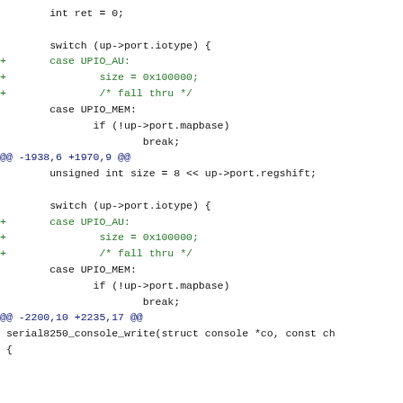Code diff showing serial8250 driver changes with additions of UPIO_AU case handling and a new function serial8250_console_write
[Figure (screenshot): Source code diff in monospace font showing C code changes. Added lines marked with green '+', diff hunk headers in blue. Two diff hunks visible: @@ -1938,6 +1970,9 @@ and @@ -2200,10 +2235,17 @@]